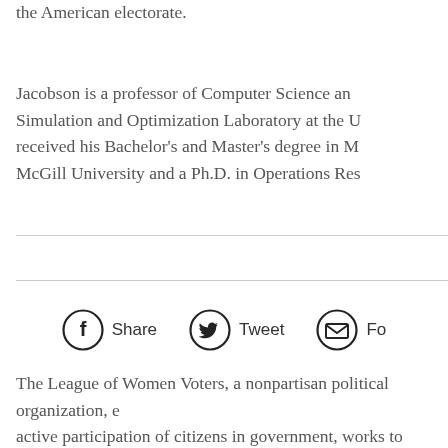the American electorate.
Jacobson is a professor of Computer Science and Simulation and Optimization Laboratory at the U received his Bachelor's and Master's degree in McGill University and a Ph.D. in Operations Res
The League of Women Voters, a nonpartisan political organization, active participation of citizens in government, works to increase und policy issues, and influences public policy through education and ad public policy through education and advocacy, working on various i levels. League members come from all walks of life – united by our